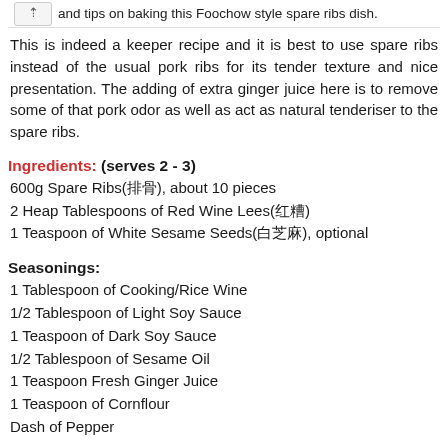and tips on baking this Foochow style spare ribs dish.
This is indeed a keeper recipe and it is best to use spare ribs instead of the usual pork ribs for its tender texture and nice presentation. The adding of extra ginger juice here is to remove some of that pork odor as well as act as natural tenderiser to the spare ribs.
Ingredients: (serves 2 - 3)
600g Spare Ribs(排骨), about 10 pieces
2 Heap Tablespoons of Red Wine Lees(红糟)
1 Teaspoon of White Sesame Seeds(白芝麻), optional
Seasonings:
1 Tablespoon of Cooking/Rice Wine
1/2 Tablespoon of Light Soy Sauce
1 Teaspoon of Dark Soy Sauce
1/2 Tablespoon of Sesame Oil
1 Teaspoon Fresh Ginger Juice
1 Teaspoon of Cornflour
Dash of Pepper